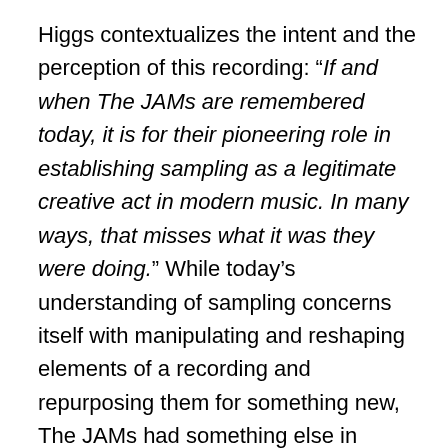Higgs contextualizes the intent and the perception of this recording: “If and when The JAMs are remembered today, it is for their pioneering role in establishing sampling as a legitimate creative act in modern music. In many ways, that misses what it was they were doing.” While today’s understanding of sampling concerns itself with manipulating and reshaping elements of a recording and repurposing them for something new, The JAMs had something else in mind. “They took things not for how they sounded, but for what they represented,” Higgs explains. “When they took parts of ABBA and The Beatles, it was not because of the quality of the sound, but very specifically because they were records by ABBA and The Beatles.” The act was an exercise in what the Situationists called, détournement, which involves taking the cultural images forced upon us and using them instead for our